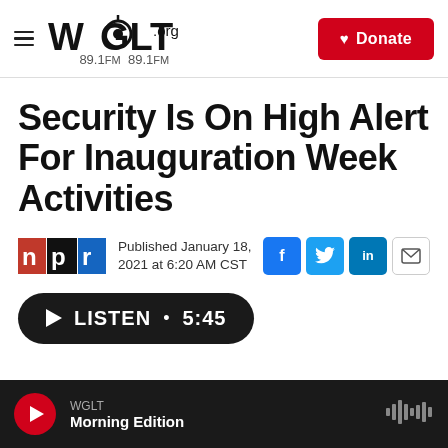WGLT.org 89.1FM — Donate
Security Is On High Alert For Inauguration Week Activities
Published January 18, 2021 at 6:20 AM CST
LISTEN • 5:45
WGLT — Morning Edition